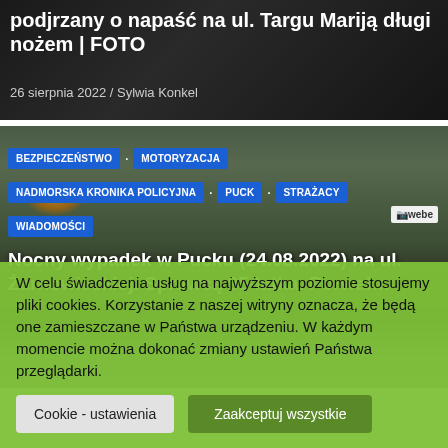podjrzany o napasc na ul. Targu Mariją długi nożem | FOTO
26 sierpnia 2022 / Sylwia Konkel
[Figure (photo): Car accident scene in Puck with emergency vehicles and an older man inspecting damaged car engine]
BEZPIECZEŃSTWO · MOTORYZACJA · NADMORSKA KRONIKA POLICYJNA · PUCK · STRAŻACY · WIADOMOŚCI
Nocny wypadek w Pucku (24.08.2022) na ul. Żarnowieckiej. Sprawcą 95-latka. Porwał...
W celu świadczenia usług na najwyższym poziomie stosujemy pliki cookies. Korzystanie z naszej witryny oznacza, że będą one zamieszczane w Państwa urządzeniu. W każdym momencie można dokonać zmiany ustawień Państwa przeglądarki.
Cookie - ustawienia
Zaakceptuj wszystkie